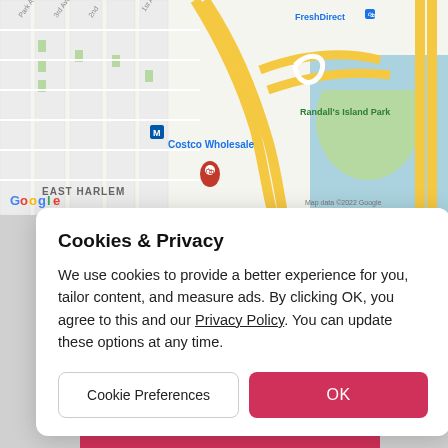[Figure (map): Google Maps screenshot showing East Harlem area of New York City with Costco Wholesale location marked, FreshDirect label, Randall's Island Park, highways in yellow, water bodies in blue, and Google logo with 'Map data ©2022 Google' attribution.]
Cookies & Privacy
We use cookies to provide a better experience for you, tailor content, and measure ads. By clicking OK, you agree to this and our Privacy Policy. You can update these options at any time.
Cookie Preferences
OK